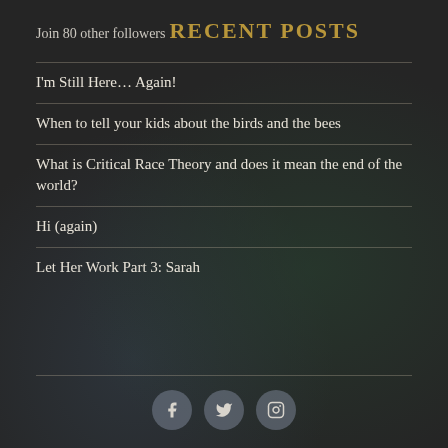Join 80 other followers
RECENT POSTS
I'm Still Here… Again!
When to tell your kids about the birds and the bees
What is Critical Race Theory and does it mean the end of the world?
Hi (again)
Let Her Work Part 3: Sarah
Social icons: Facebook, Twitter, Instagram